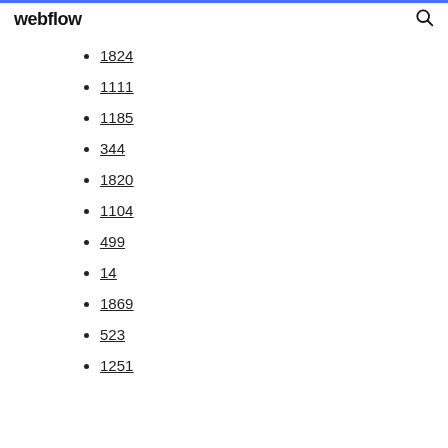webflow
1824
1111
1185
344
1820
1104
499
14
1869
523
1251